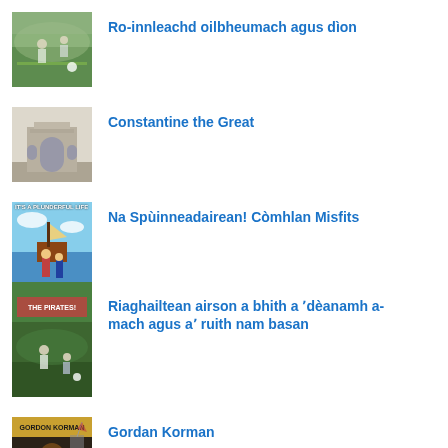Ro-innleachd oilbheumach agus dìon
Constantine the Great
Na Spùinneadairean! Còmhlan Misfits
Riaghailtean airson a bhith a 'dèanamh a-mach agus a' ruith nam basan
Gordan Korman